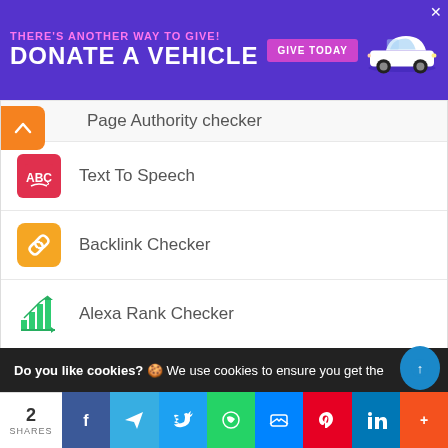[Figure (screenshot): Purple advertisement banner: THERE'S ANOTHER WAY TO GIVE! DONATE A VEHICLE with GIVE TODAY button and car illustration]
Page Authority checker
Text To Speech
Backlink Checker
Alexa Rank Checker
Backlink Maker
Domain Age Checker
Do you like cookies? 🍪 We use cookies to ensure you get the
2 SHARES | Facebook | Telegram | Twitter | WhatsApp | Messenger | Pinterest | LinkedIn | More